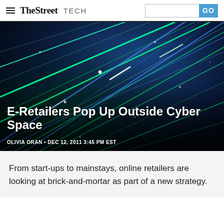TheStreet TECH
[Figure (photo): Abstract photo of colorful fiber optic light streaks in blue and green on a dark background, used as hero image for article 'E-Retailers Pop Up Outside Cyber Space']
E-Retailers Pop Up Outside Cyber Space
OLIVIA ORAN • DEC 12, 2011 3:45 PM EST
From start-ups to mainstays, online retailers are looking at brick-and-mortar as part of a new strategy.